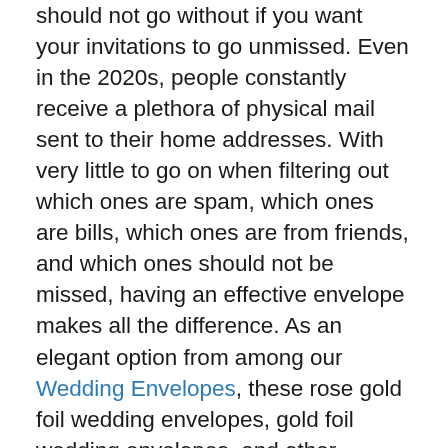should not go without if you want your invitations to go unmissed. Even in the 2020s, people constantly receive a plethora of physical mail sent to their home addresses. With very little to go on when filtering out which ones are spam, which ones are bills, which ones are from friends, and which ones should not be missed, having an effective envelope makes all the difference. As an elegant option from among our Wedding Envelopes, these rose gold foil wedding envelopes, gold foil wedding envelopes, and other colored foil wedding envelopes are a fantastic and fun solution to any of your RSVP woes. A wedding is stressful enough with all the moving pieces that go into planning, so don't add unnecessary stress to your life. When you send out your foil wedding invitations in foil wedding envelopes they'll become an unstoppable force that will knock aside any undue stressors. As you read on, you'll learn all about the customization options and specifications that go into making your foil envelopes the best wedding